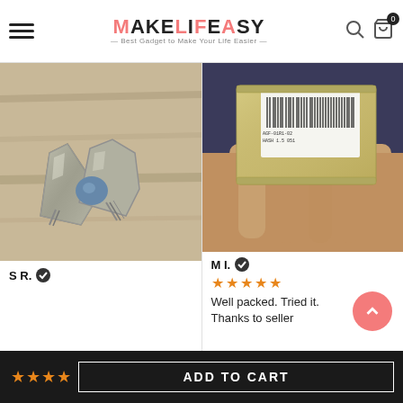MAKELIFEASY — Best Gadget to Make Your Life Easier
[Figure (photo): Photo of a foil-wrapped tablet/pill packet torn open with a small blue round tablet visible on a wooden surface]
S R. ✓
[Figure (photo): Photo of a hand holding a silver foil packet with a barcode label on it]
M I. ✓
★★★★★
Well packed. Tried it. Thanks to seller
ADD TO CART